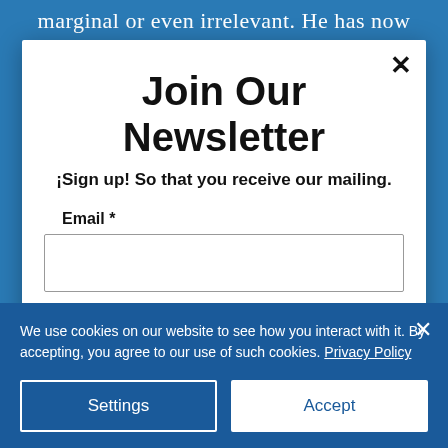marginal or even irrelevant. He has now promised to govern in a more
Join Our Newsletter
¡Sign up! So that you receive our mailing.
Email *
First Name *
We use cookies on our website to see how you interact with it. By accepting, you agree to our use of such cookies. Privacy Policy
Settings
Accept